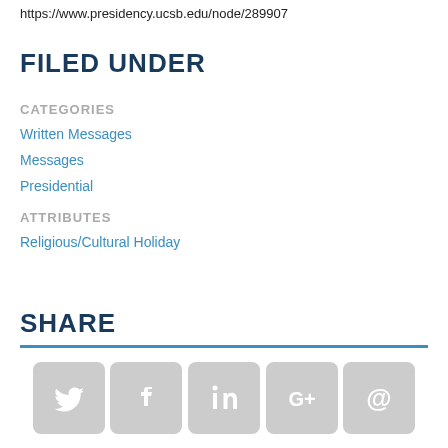https://www.presidency.ucsb.edu/node/289907
FILED UNDER
CATEGORIES
Written Messages
Messages
Presidential
ATTRIBUTES
Religious/Cultural Holiday
SHARE
[Figure (infographic): Social media share buttons: Twitter, Facebook, LinkedIn, Google+, Email]